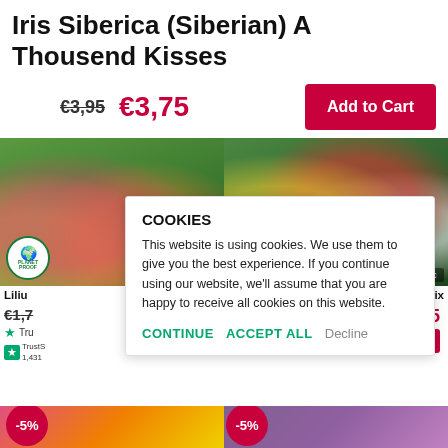Iris Siberica (Siberian) A Thousend Kisses
€3,95  €3,75
[Figure (photo): Left: colorful lilium flowers (pink, orange, yellow) with a child in background. Right: tulips in yellow, red, and white colors.]
Liliu... Mix
€1,7... €...5
Tru... TrustScore 1,431
[Figure (other): Cookie consent overlay dialog]
-5%  -5%